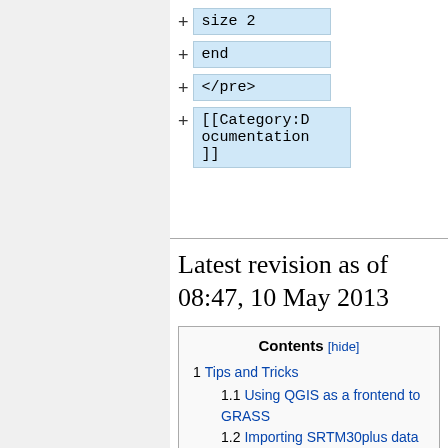[Figure (screenshot): Diff view showing added lines: 'size 2', 'end', '</pre>', and '[[Category:Documentation]]' each in a blue highlighted box with a '+' prefix]
Latest revision as of 08:47, 10 May 2013
| Contents [hide] |
| --- |
| 1  Tips and Tricks |
| 1.1  Using QGIS as a frontend to GRASS |
| 1.2  Importing SRTM30plus data |
| 1.3  GMT (The Generic Mapping Tools) |